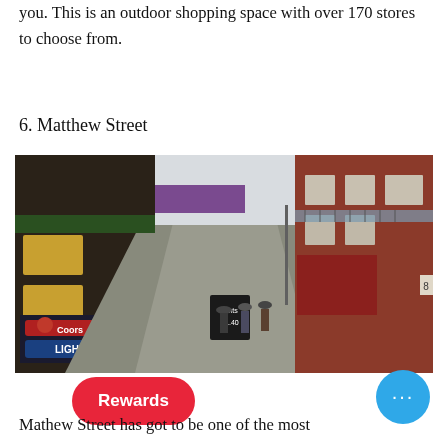you. This is an outdoor shopping space with over 170 stores to choose from.
6. Matthew Street
[Figure (photo): Street-level photograph of Matthew Street, Liverpool, showing narrow pedestrian street flanked by bars and shops including a Coors Light sign, with people walking in the middle distance.]
Mathew Street has got to be one of the most